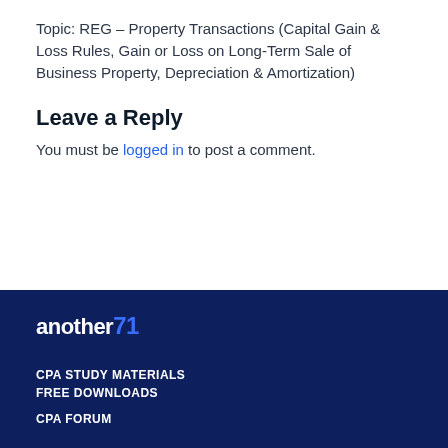Topic: REG – Property Transactions (Capital Gain & Loss Rules, Gain or Loss on Long-Term Sale of Business Property, Depreciation & Amortization)
Leave a Reply
You must be logged in to post a comment.
another71 | CPA STUDY MATERIALS | FREE DOWNLOADS | CPA FORUM